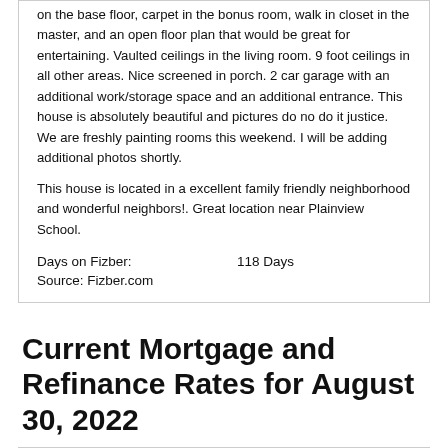on the base floor, carpet in the bonus room, walk in closet in the master, and an open floor plan that would be great for entertaining. Vaulted ceilings in the living room. 9 foot ceilings in all other areas. Nice screened in porch. 2 car garage with an additional work/storage space and an additional entrance. This house is absolutely beautiful and pictures do no do it justice. We are freshly painting rooms this weekend. I will be adding additional photos shortly.
This house is located in a excellent family friendly neighborhood and wonderful neighbors!. Great location near Plainview School.
Days on Fizber:                    118 Days
Source: Fizber.com
Current Mortgage and Refinance Rates for August 30, 2022
This chart displays offers for paying partners which may impact the order in which they appear